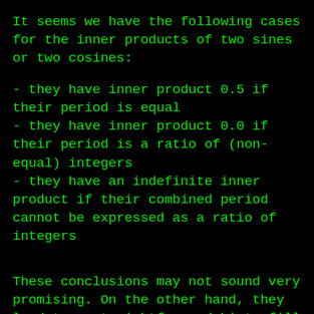It seems we have the following cases for the inner products of two sines or two cosines:
- they have inner product 0.5 if their period is equal
- they have inner product 0.0 if their period is a ratio of (non-equal) integers
- they have an indefinite inner product if their combined period cannot be expressed as a ratio of integers
These conclusions may not sound very promising. On the other hand, they lead to a straightforward hint: fill your correlation matrix with harmonic sines and cosines. They are orthogonal. That is one condition fulfilled, for a start. Oh, and do not forget about the complex conjugates.